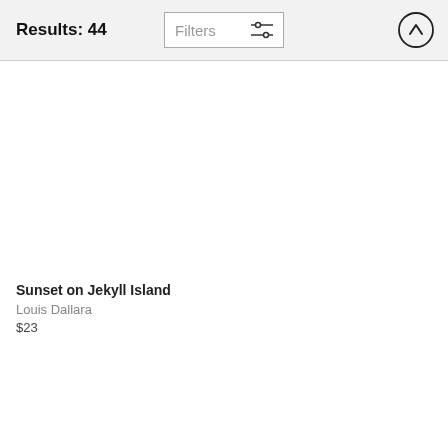Results: 44
Filters
[Figure (screenshot): Empty white product image area for Sunset on Jekyll Island]
Sunset on Jekyll Island
Louis Dallara
$23